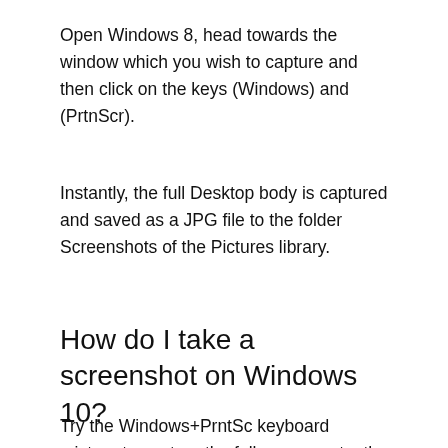Open Windows 8, head towards the window which you wish to capture and then click on the keys (Windows) and (PrtnScr).
Instantly, the full Desktop body is captured and saved as a JPG file to the folder Screenshots of the Pictures library.
How do I take a screenshot on Windows 10?
Try the Windows+PrntSc keyboard mixture to capture the full screen or try the Snipping Tool to choose a mode select a screenshot delay